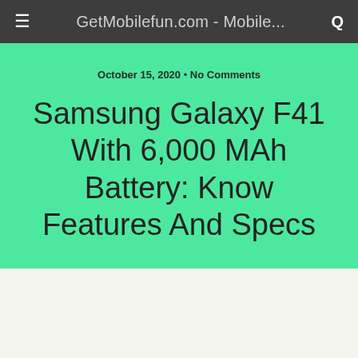GetMobilefun.com - Mobile...
October 15, 2020 • No Comments
Samsung Galaxy F41 With 6,000 MAh Battery: Know Features And Specs